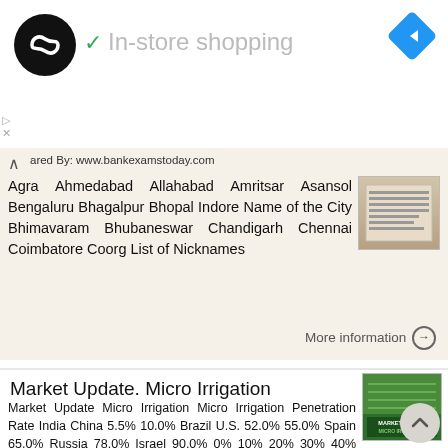[Figure (logo): Ad banner with circular black logo with double infinity/loop symbol, checkmark and 'In-store shopping' text in grey, blue diamond navigation arrow icon on right]
ared By: www.bankexamstoday.com Agra Ahmedabad Allahabad Amritsar Asansol Bengaluru Bhagalpur Bhopal Indore Name of the City Bhimavaram Bhubaneswar Chandigarh Chennai Coimbatore Coorg List of Nicknames
More information ⊙
Market Update. Micro Irrigation
Market Update Micro Irrigation Micro Irrigation Penetration Rate India China 5.5% 10.0% Brazil U.S. 52.0% 55.0% Spain 65.0% Russia 78.0% Israel 90.0% 0% 10% 20% 30% 40% 50% 60% 70% 80% 90% 100% Penetration